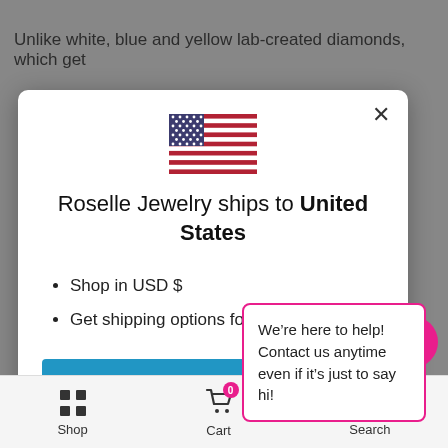Unlike white, blue and yellow lab-created diamonds, which get
[Figure (screenshot): Modal dialog showing Roselle Jewelry ships to United States with a US flag, bullet points for USD and shipping options, a Shop button, and a Change shipping country link. A chat tooltip overlay shows 'We're here to help! Contact us anytime even if it's just to say hi!']
Shop  Cart  Search